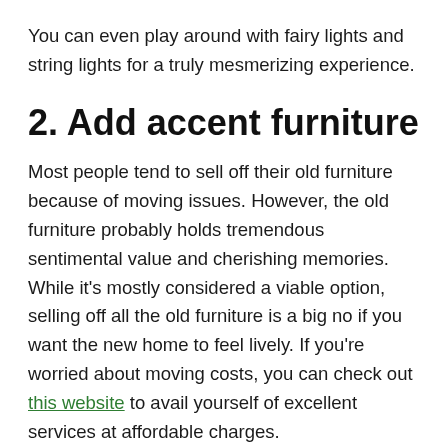You can even play around with fairy lights and string lights for a truly mesmerizing experience.
2. Add accent furniture
Most people tend to sell off their old furniture because of moving issues. However, the old furniture probably holds tremendous sentimental value and cherishing memories. While it's mostly considered a viable option, selling off all the old furniture is a big no if you want the new home to feel lively. If you're worried about moving costs, you can check out this website to avail yourself of excellent services at affordable charges.
Whether you've bought new furniture or have had all your previous furniture moved, you need accent furniture to add definition and drama to your spaces. Accent furniture is anything that stands out against